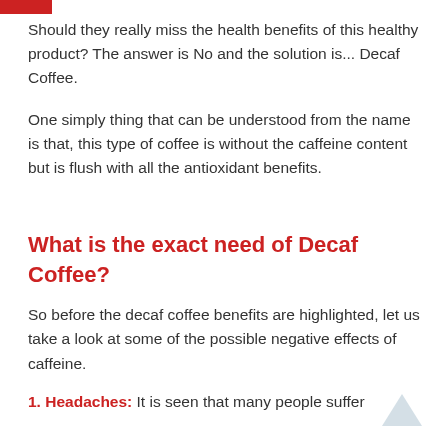Should they really miss the health benefits of this healthy product? The answer is No and the solution is... Decaf Coffee.
One simply thing that can be understood from the name is that, this type of coffee is without the caffeine content but is flush with all the antioxidant benefits.
What is the exact need of Decaf Coffee?
So before the decaf coffee benefits are highlighted, let us take a look at some of the possible negative effects of caffeine.
1. Headaches: It is seen that many people suffer from...